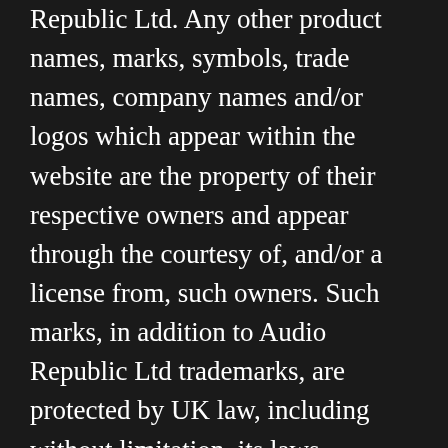Republic Ltd. Any other product names, marks, symbols, trade names, company names and/or logos which appear within the website are the property of their respective owners and appear through the courtesy of, and/or a license from, such owners. Such marks, in addition to Audio Republic Ltd trademarks, are protected by UK law, including without limitation, its laws regarding copyright and trademark, and may also be protected by the laws in other countries.
16.3 Any unauthorized use of the site's materials, the Audio Republic Ltd trademarks, and/or the marks belonging to any other party that appear on the site, may violate copyright law and/or trademark law, among others, in the UK, as well